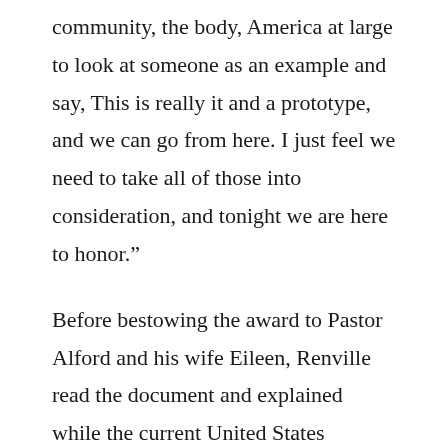community, the body, America at large to look at someone as an example and say, This is really it and a prototype, and we can go from here. I just feel we need to take all of those into consideration, and tonight we are here to honor.”
Before bestowing the award to Pastor Alford and his wife Eileen, Renville read the document and explained while the current United States President signs the award, it exists before and after that person is in office and regardless of who they are or what party they stand for. In other words, the award is a